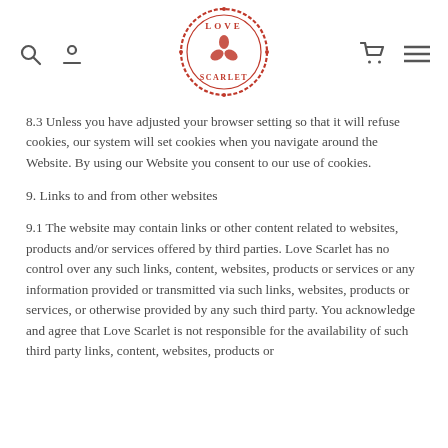Love Scarlet logo with navigation icons
8.3 Unless you have adjusted your browser setting so that it will refuse cookies, our system will set cookies when you navigate around the Website. By using our Website you consent to our use of cookies.
9. Links to and from other websites
9.1 The website may contain links or other content related to websites, products and/or services offered by third parties. Love Scarlet has no control over any such links, content, websites, products or services or any information provided or transmitted via such links, websites, products or services, or otherwise provided by any such third party. You acknowledge and agree that Love Scarlet is not responsible for the availability of such third party links, content, websites, products or